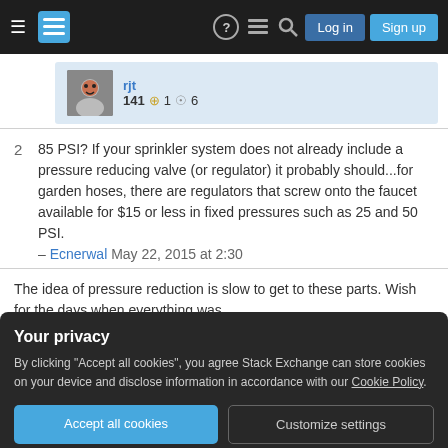Stack Exchange navigation bar with Log in and Sign up buttons
rjt 141 ●1 ●6
85 PSI? If your sprinkler system does not already include a pressure reducing valve (or regulator) it probably should...for garden hoses, there are regulators that screw onto the faucet available for $15 or less in fixed pressures such as 25 and 50 PSI. – Ecnerwal May 22, 2015 at 2:30
The idea of pressure reduction is slow to get to these parts. Wish for the days when everything was
Your privacy
By clicking "Accept all cookies", you agree Stack Exchange can store cookies on your device and disclose information in accordance with our Cookie Policy.
Accept all cookies
Customize settings
stepping on one sprinkler reduces the flow and